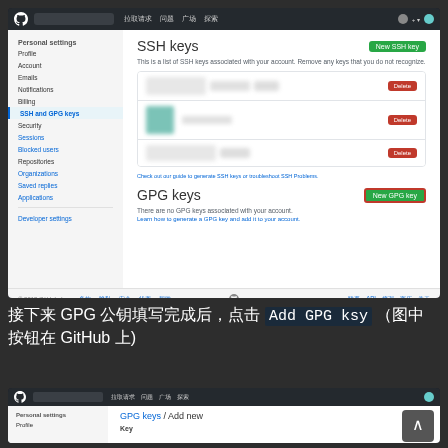[Figure (screenshot): GitHub settings page showing SSH keys section with three keys listed (each with a Delete button), and GPG keys section with 'New GPG key' button highlighted in red border. Left sidebar shows navigation menu with 'SSH and GPG keys' active.]
接下来 GPG 公钥填写完成后，点击 Add GPG ksy （图中按钮在 GitHub 上)
[Figure (screenshot): GitHub settings page showing GPG keys / Add new page with Key input field visible.]